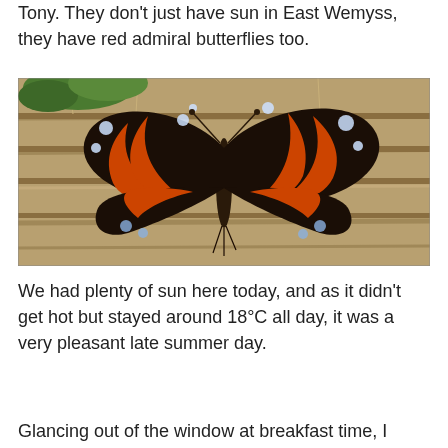Tony. They don't just have sun in East Wemyss, they have red admiral butterflies too.
[Figure (photo): A red admiral butterfly with wings spread, resting on a wooden surface. The butterfly displays its characteristic dark brown/black wings with vivid orange-red banding and white spots.]
We had plenty of sun here today, and as it didn't get hot but stayed around 18°C all day, it was a very pleasant late summer day.
Glancing out of the window at breakfast time, I